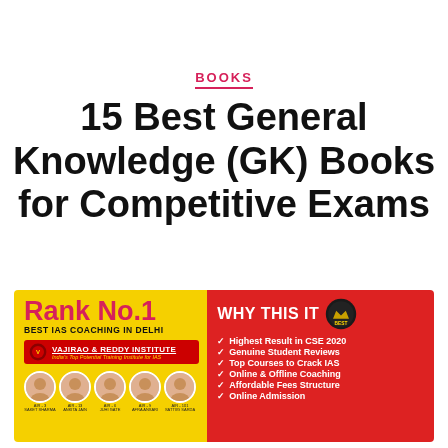BOOKS
15 Best General Knowledge (GK) Books for Competitive Exams
[Figure (advertisement): Advertisement banner for Vajirao & Reddy Institute, Rank No.1 Best IAS Coaching in Delhi. Left yellow section shows rank, institute name, logo, and 5 student photos. Right red section lists 'WHY THIS IT' with checkmarks: Highest Result in CSE 2020, Genuine Student Reviews, Top Courses to Crack IAS, Online & Offline Coaching, Affordable Fees Structure, Online Admission.]